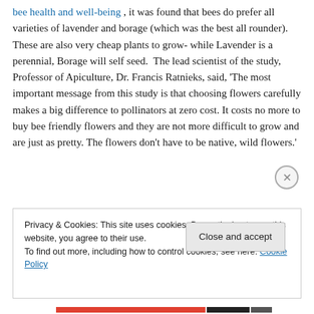bee health and well-being , it was found that bees do prefer all varieties of lavender and borage (which was the best all rounder).  These are also very cheap plants to grow- while Lavender is a perennial, Borage will self seed.  The lead scientist of the study, Professor of Apiculture, Dr. Francis Ratnieks, said, 'The most important message from this study is that choosing flowers carefully makes a big difference to pollinators at zero cost. It costs no more to buy bee friendly flowers and they are not more difficult to grow and are just as pretty. The flowers don't have to be native, wild flowers.'
Privacy & Cookies: This site uses cookies. By continuing to use this website, you agree to their use.
To find out more, including how to control cookies, see here: Cookie Policy